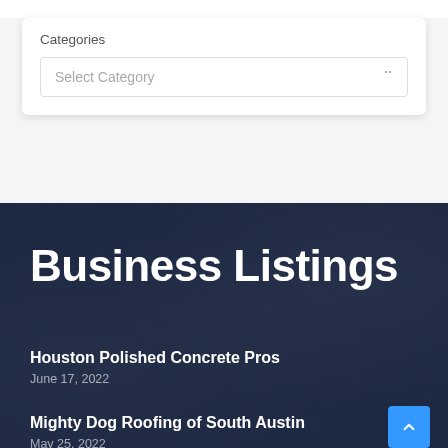Categories
Select Category
Business Listings
Houston Polished Concrete Pros
June 17, 2022
Mighty Dog Roofing of South Austin
May 25, 2022